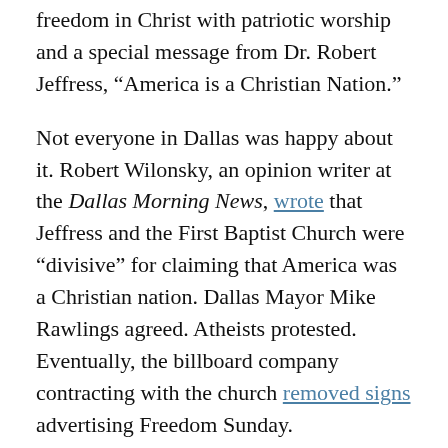freedom in Christ with patriotic worship and a special message from Dr. Robert Jeffress, “America is a Christian Nation.”
Not everyone in Dallas was happy about it. Robert Wilonsky, an opinion writer at the Dallas Morning News, wrote that Jeffress and the First Baptist Church were “divisive” for claiming that America was a Christian nation. Dallas Mayor Mike Rawlings agreed. Atheists protested. Eventually, the billboard company contracting with the church removed signs advertising Freedom Sunday.
This, of course, did not stop the service from going forward. The people of First Baptist Church spent the morning of the 24th waving American flags, wearing red, white, and blue shirts, singing the Star-Spangled Banner, and celebrating the United States military. Vice-president Mike Pence sent a letter of